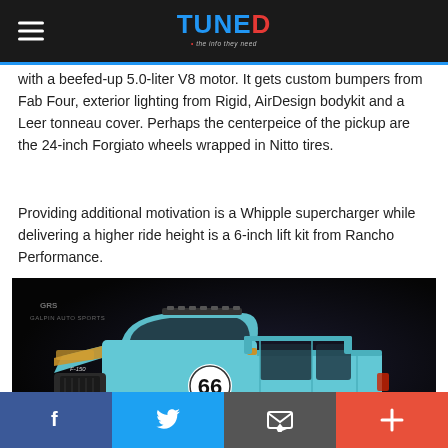TUNED
with a beefed-up 5.0-liter V8 motor. It gets custom bumpers from Fab Four, exterior lighting from Rigid, AirDesign bodykit and a Leer tonneau cover. Perhaps the centerpeice of the pickup are the 24-inch Forgiato wheels wrapped in Nitto tires.
Providing additional motivation is a Whipple supercharger while delivering a higher ride height is a 6-inch lift kit from Rancho Performance.
[Figure (photo): Light blue and gold Ford F-150 pickup truck with number 66 racing livery, lifted on large off-road tires, with Galpin Auto Sports logo in background]
f  Twitter  Email  +